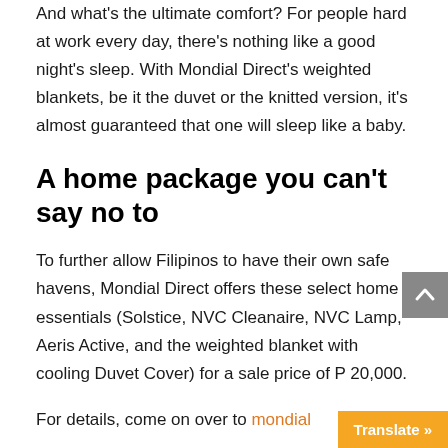And what's the ultimate comfort? For people hard at work every day, there's nothing like a good night's sleep. With Mondial Direct's weighted blankets, be it the duvet or the knitted version, it's almost guaranteed that one will sleep like a baby.
A home package you can't say no to
To further allow Filipinos to have their own safe havens, Mondial Direct offers these select home essentials (Solstice, NVC Cleanaire, NVC Lamp, Aeris Active, and the weighted blanket with cooling Duvet Cover) for a sale price of P 20,000.
For details, come on over to mondial…